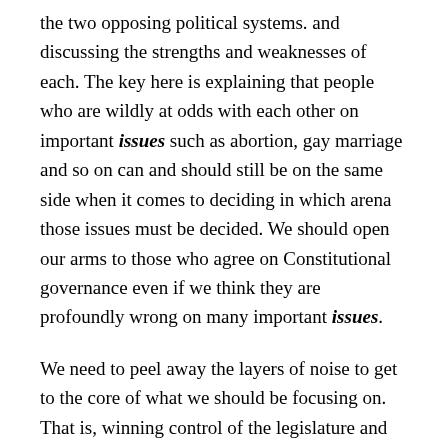the two opposing political systems. and discussing the strengths and weaknesses of each. The key here is explaining that people who are wildly at odds with each other on important issues such as abortion, gay marriage and so on can and should still be on the same side when it comes to deciding in which arena those issues must be decided. We should open our arms to those who agree on Constitutional governance even if we think they are profoundly wrong on many important issues.
We need to peel away the layers of noise to get to the core of what we should be focusing on. That is, winning control of the legislature and presidency so laws can begin to be passed to unwind the disastrous policies put in place over the decades, carefully entwined within the architecture of every agency in our government. To achieve that, we need votes. We